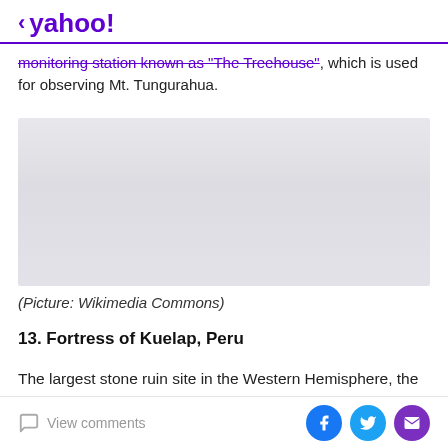< yahoo!
monitoring station known as “The Treehouse”, which is used for observing Mt. Tungurahua.
[Figure (photo): Gray placeholder image for a photo, light gray gradient rectangle]
(Picture: Wikimedia Commons)
13. Fortress of Kuelap, Peru
The largest stone ruin site in the Western Hemisphere, the towering walls of bulky stone blocks make Machu
View comments